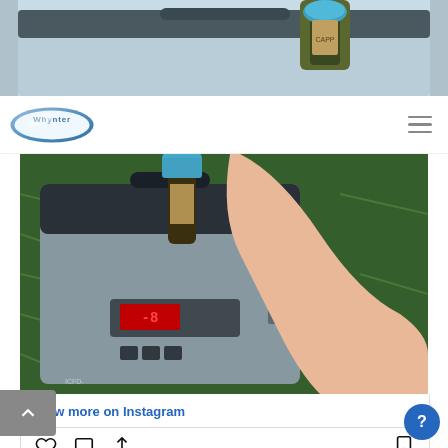[Figure (photo): Cropped top portion showing a light blue cooler/refrigerator with a glass bottle being inserted, green grass background]
[Figure (logo): Whynter brand logo — white oval with blue gradient border and 'Whynter' text in blue/grey]
[Figure (photo): Main product photo: grey portable refrigerator/freezer with digital red temperature display, placed on grass, with a hand holding a glass bottle being inserted into the top]
View more on Instagram
[Figure (infographic): Instagram action bar with heart (like), comment bubble, share/upload icons on left and bookmark icon on right]
271 likes